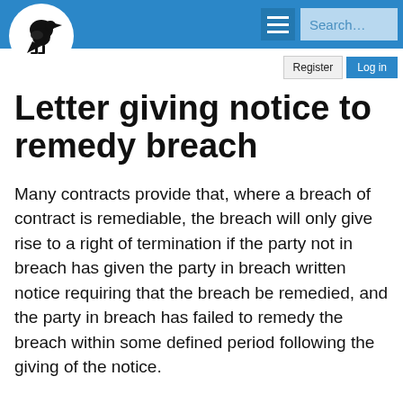[Figure (logo): Black raven/crow logo inside a white circle on blue navigation bar]
Search...
Letter giving notice to remedy breach
Many contracts provide that, where a breach of contract is remediable, the breach will only give rise to a right of termination if the party not in breach has given the party in breach written notice requiring that the breach be remedied, and the party in breach has failed to remedy the breach within some defined period following the giving of the notice.